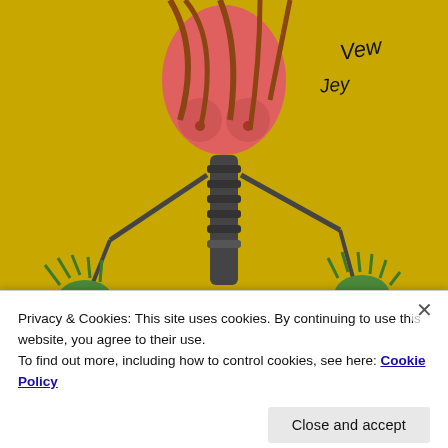[Figure (illustration): Concert after-show poster illustration on yellow background featuring a stylized skeleton/female figure with pink torso, green hands holding chains, and handwritten signatures including 'GNF&R's'. Text at bottom reads 'AFTER SHOW' in bold letters.]
Privacy & Cookies: This site uses cookies. By continuing to use this website, you agree to their use.
To find out more, including how to control cookies, see here: Cookie Policy